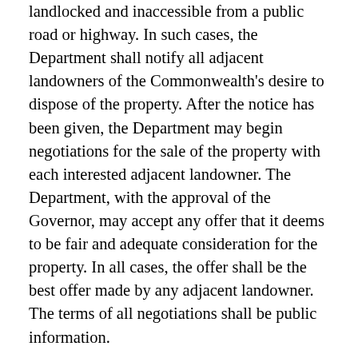landlocked and inaccessible from a public road or highway. In such cases, the Department shall notify all adjacent landowners of the Commonwealth's desire to dispose of the property. After the notice has been given, the Department may begin negotiations for the sale of the property with each interested adjacent landowner. The Department, with the approval of the Governor, may accept any offer that it deems to be fair and adequate consideration for the property. In all cases, the offer shall be the best offer made by any adjacent landowner. The terms of all negotiations shall be public information.
I. Subject to any law to the contrary, 50 percent of the proceeds from all sales or leases, or from the conveyance of any interest in property under the provisions of this article, above the costs of the transaction, which costs shall include fees or commissions, if any, negotiated with and paid to auctioneers or real estate brokers, shall be paid into the State Park Acquisition and Development Fund, so long as the sales or leases pertain to general fund property, and so long as the duration of the lease shall